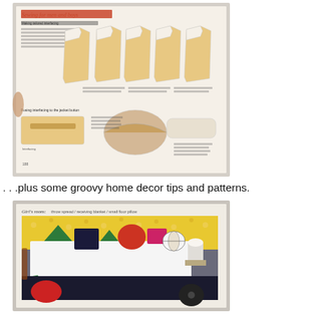[Figure (photo): Photograph of an open book page showing a sewing instructional spread titled 'Sewing for men and boys' with diagrams of shirt/jacket construction and interfacing techniques, including illustrations of garment pieces and a collar.]
. . .plus some groovy home decor tips and patterns.
[Figure (photo): Photograph of an open book page showing a girl's room decor spread titled 'Girl's room: throw spread / receiving blanket / small floor pillow' with a colorful bedroom scene featuring a bed with a white throw spread, decorative pillows in various shapes and colors (green triangles, red circles, dark navy), and vibrant yellow floral wallpaper.]